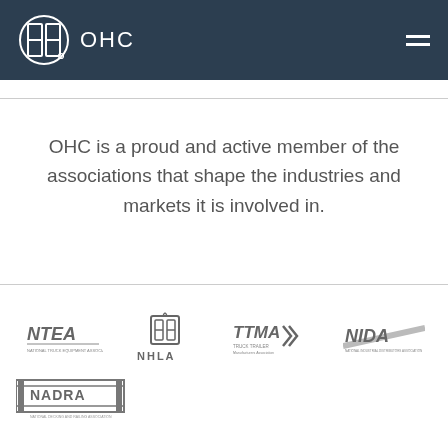OHC
OHC is a proud and active member of the associations that shape the industries and markets it is involved in.
[Figure (logo): Row of association logos: NTEA, NHLA (with gear icon), TTMA Truck Trailer, NIDA]
[Figure (logo): NADRA logo]